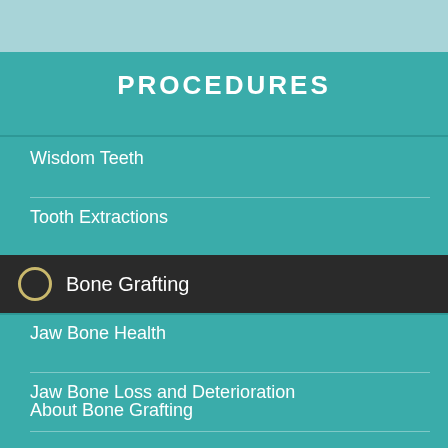PROCEDURES
Wisdom Teeth
Tooth Extractions
Bone Grafting
Jaw Bone Health
Jaw Bone Loss and Deterioration
About Bone Grafting